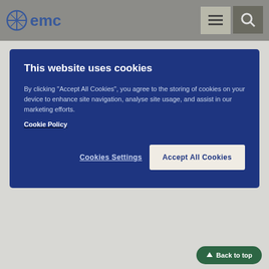emc
[Figure (screenshot): Cookie consent modal overlay with dark blue background. Title: 'This website uses cookies'. Body text about accepting cookies. 'Cookie Policy' link. Two buttons: 'Cookies Settings' and 'Accept All Cookies'.]
is breast-feeding or is planning to breast-feed before taking this medicine.
Driving and using machines
It should be taken into account that some people feel dizzy and sleepy after taking aprepitant. If you or the child feels dizzy or sleepy, avoid driving, riding a bicycle or using machines or tools after taking this medicine (see Possible side effects').
Aprepitant contains sucrose
Aprepitant capsules contain sucrose. If you or the child have been